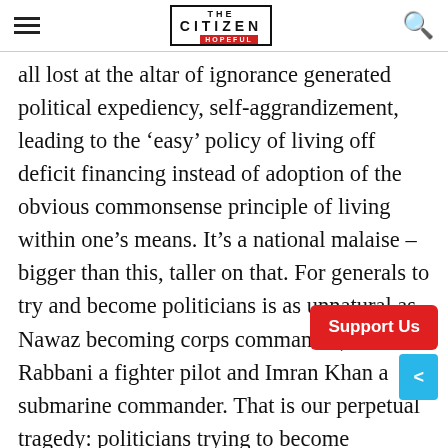THE CITIZEN IS HOPEFUL
all lost at the altar of ignorance generated political expediency, self-aggrandizement, leading to the ‘easy’ policy of living off deficit financing instead of adoption of the obvious commonsense principle of living within one’s means. It’s a national malaise – bigger than this, taller on that. For generals to try and become politicians is as unnatural as Nawaz becoming corps commander, Raza Rabbani a fighter pilot and Imran Khan a submarine commander. That is our perpetual tragedy: politicians trying to become dictators and